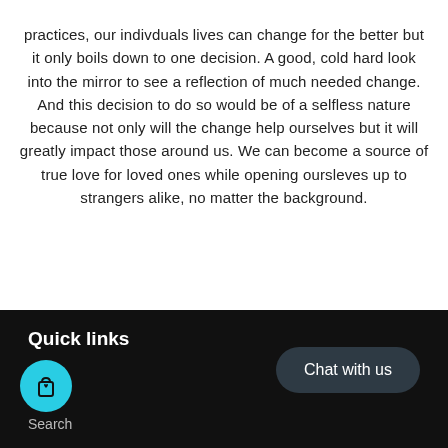practices, our indivduals lives can change for the better but it only boils down to one decision. A good, cold hard look into the mirror to see a reflection of much needed change. And this decision to do so would be of a selfless nature because not only will the change help ourselves but it will greatly impact those around us. We can become a source of true love for loved ones while opening oursleves up to strangers alike, no matter the background.
Quick links  Chat with us  Search